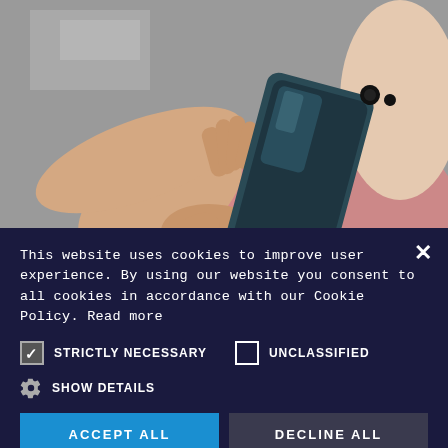[Figure (photo): Person holding a dark green/blue smartphone, viewed from above, wearing pink clothing, sitting on a stone/concrete surface. Social media share buttons (Facebook, Twitter, Pinterest) visible on the left side.]
Photo Credit: Nuo Teng A/C
This website uses cookies to improve user experience. By using our website you consent to all cookies in accordance with our Cookie Policy. Read more
STRICTLY NECESSARY    UNCLASSIFIED
SHOW DETAILS
ACCEPT ALL    DECLINE ALL